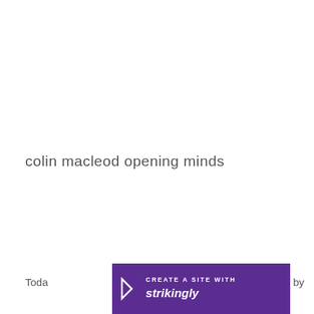colin macleod opening minds
Today
by
[Figure (infographic): Purple banner for Strikingly website builder with text 'CREATE A SITE WITH strikingly' and a chevron icon]
CREATE A SITE WITH strikingly